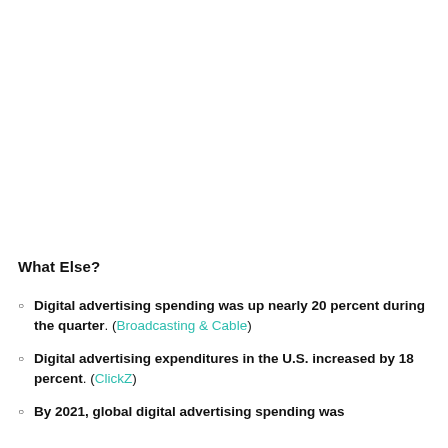What Else?
Digital advertising spending was up nearly 20 percent during the quarter. (Broadcasting & Cable)
Digital advertising expenditures in the U.S. increased by 18 percent. (ClickZ)
By 2021, global digital advertising spending was...